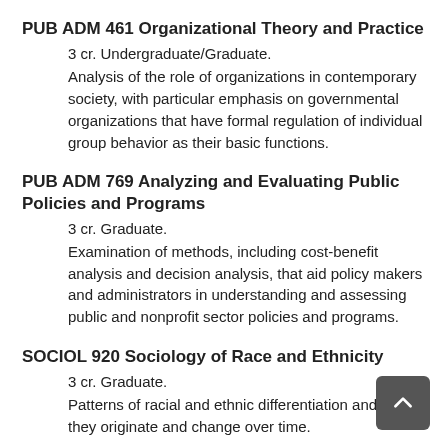PUB ADM 461 Organizational Theory and Practice
3 cr. Undergraduate/Graduate.
Analysis of the role of organizations in contemporary society, with particular emphasis on governmental organizations that have formal regulation of individual group behavior as their basic functions.
PUB ADM 769 Analyzing and Evaluating Public Policies and Programs
3 cr. Graduate.
Examination of methods, including cost-benefit analysis and decision analysis, that aid policy makers and administrators in understanding and assessing public and nonprofit sector policies and programs.
SOCIOL 920 Sociology of Race and Ethnicity
3 cr. Graduate.
Patterns of racial and ethnic differentiation and how they originate and change over time.